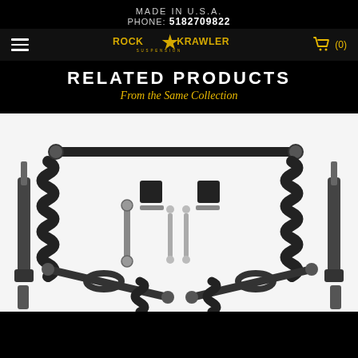MADE IN U.S.A.
PHONE: 5182709822
[Figure (logo): Rock Krawler Suspension logo in gold/yellow on black background]
RELATED PRODUCTS
From the Same Collection
[Figure (photo): Rock Krawler suspension kit components laid out on white background including coil springs, shocks, control arms, track bar, sway bar links, and other hardware]